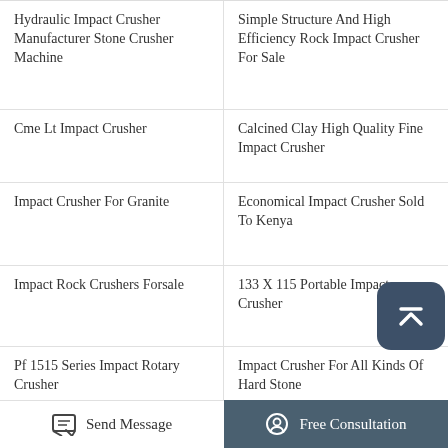Hydraulic Impact Crusher Manufacturer Stone Crusher Machine
Simple Structure And High Efficiency Rock Impact Crusher For Sale
Cme Lt Impact Crusher
Calcined Clay High Quality Fine Impact Crusher
Impact Crusher For Granite
Economical Impact Crusher Sold To Kenya
Impact Rock Crushers Forsale
133 X 115 Portable Impact Crusher
Pf 1515 Series Impact Rotary Crusher
Impact Crusher For All Kinds Of Hard Stone
Pf Series Impact Crusher
Send Message
Free Consultation